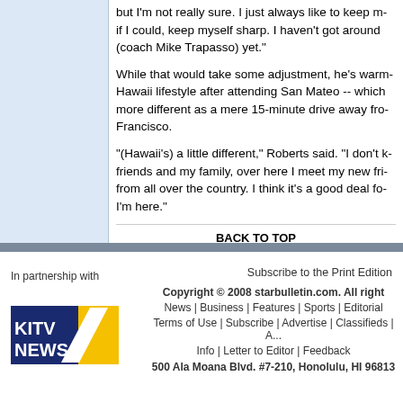but I'm not really sure. I just always like to keep myself sharp. I haven't got around to talking to (coach Mike Trapasso) yet."
While that would take some adjustment, he's warming to the Hawaii lifestyle after attending San Mateo -- which couldn't be more different as a mere 15-minute drive away from San Francisco.
"(Hawaii's) a little different," Roberts said. "I don't know my friends and my family, over here I meet my new friends from all over the country. I think it's a good deal for me while I'm here."
BACK TO TOP
© Honolulu Star-Bulletin -- http://archives.starbull...
Subscribe to the Print Edition
In partnership with
[Figure (logo): KITV News 4 logo with yellow and blue design]
Copyright © 2008 starbulletin.com. All rights reserved.
News | Business | Features | Sports | Editorial
Terms of Use | Subscribe | Advertise | Classifieds | A...
Info | Letter to Editor | Feedback
500 Ala Moana Blvd. #7-210, Honolulu, HI 96813